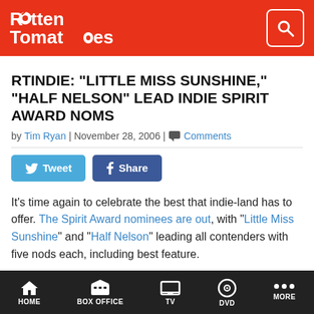Rotten Tomatoes
RTINDIE: "LITTLE MISS SUNSHINE," "HALF NELSON" LEAD INDIE SPIRIT AWARD NOMS
by Tim Ryan | November 28, 2006 | Comments
[Figure (other): Tweet and Share social media buttons]
It's time again to celebrate the best that indie-land has to offer. The Spirit Award nominees are out, with "Little Miss Sunshine" and "Half Nelson" leading all contenders with five nods each, including best feature.
The family dysfunction on the road comedy "Sunshine" was also...
HOME | BOX OFFICE | TV | DVD | MORE